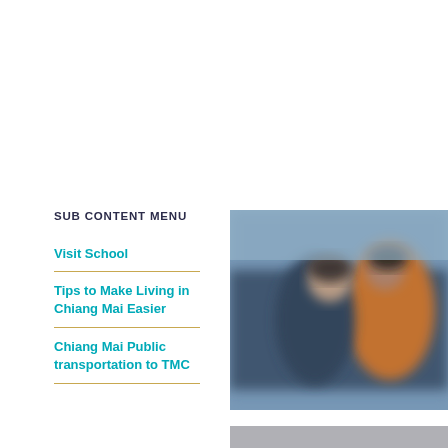SUB CONTENT MENU
Visit School
Tips to Make Living in Chiang Mai Easier
Chiang Mai Public transportation to TMC
[Figure (photo): Blurred photo of people, appears to show individuals in an orange and dark clothing, blurred/out of focus]